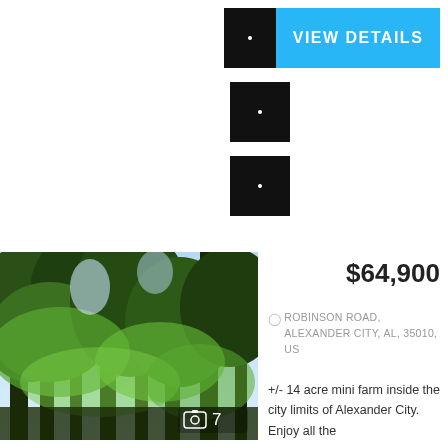[Figure (screenshot): VIEW DETAILS button with black thumbnail and blue label]
[Figure (photo): Small black thumbnail with white dot]
[Figure (photo): Small black thumbnail with white dot]
[Figure (photo): Forest/trees photo with camera icon and photo count 7]
$64,900
ROBINSON ROAD, ALEXANDER CITY, AL, 35010, US
+/- 14 acre mini farm inside the city limits of Alexander City. Enjoy all the